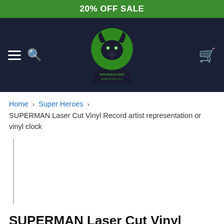20% OFF SALE
[Figure (logo): SMFX Designs logo — green circle with bull/beast head illustration, dark navy background navigation bar with hamburger menu, search icon left, and cart icon right]
Home › Super Heroes › SUPERMAN Laser Cut Vinyl Record artist representation or vinyl clock
SUPERMAN Laser Cut Vinyl Record artist representation or vinyl clock
by SMFX Designs